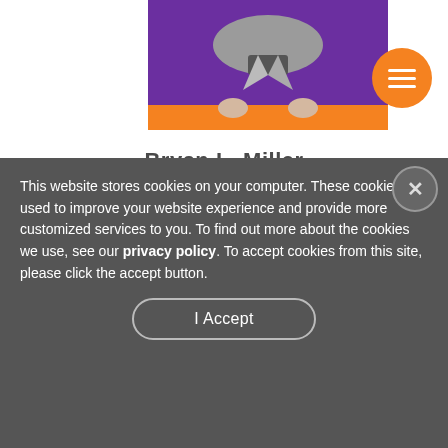[Figure (photo): Photo of Bryan L. Miller against purple and orange background, upper body visible, wearing a grey blazer. Menu hamburger button (orange circle) in top right.]
Bryan L. Miller
Senior Director Global Strategic Outreach
Join Bryan during his sessions that feature Dash, Dot and Cue!
W084$ | Bringing WONDER to your classroom with Dash, Dot and CUE!
Room: 202     Session Number: W084$
This website stores cookies on your computer. These cookies are used to improve your website experience and provide more customized services to you. To find out more about the cookies we use, see our privacy policy. To accept cookies from this site, please click the accept button.
I Accept